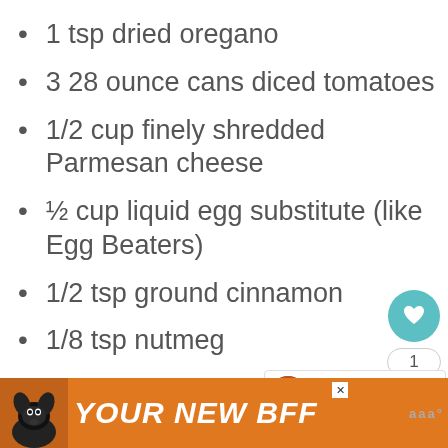1 tsp dried oregano
3 28 ounce cans diced tomatoes
1/2 cup finely shredded Parmesan cheese
½ cup liquid egg substitute (like Egg Beaters)
1/2 tsp ground cinnamon
1/8 tsp nutmeg
[Figure (infographic): Orange advertisement banner at bottom: dog image on left, 'YOUR NEW BFF' text in white italic bold, close X button, and a logo on the right]
[Figure (infographic): Sidebar UI elements: teal heart button, count showing '1', share button with arrows icon, and a 'WHAT'S NEXT' widget showing 'Asian Meatballs...' with thumbnail]